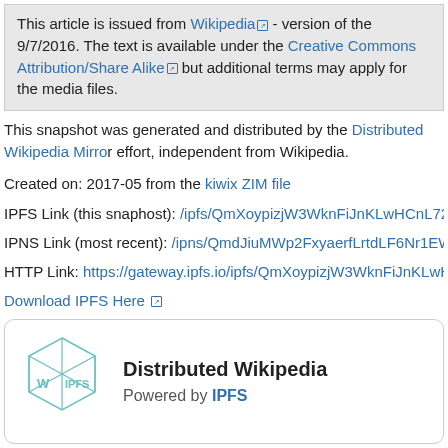This article is issued from Wikipedia - version of the 9/7/2016. The text is available under the Creative Commons Attribution/Share Alike but additional terms may apply for the media files.
This snapshot was generated and distributed by the Distributed Wikipedia Mirror effort, independent from Wikipedia.
Created on: 2017-05 from the kiwix ZIM file
IPFS Link (this snaphost): /ipfs/QmXoypizjW3WknFiJnKLwHCnL72vedxjQkD...
IPNS Link (most recent): /ipns/QmdJiuMWp2FxyaerfLrtdLF6Nr1EWpL7dPAx...
HTTP Link: https://gateway.ipfs.io/ipfs/QmXoypizjW3WknFiJnKLwHCnL72ve...
Download IPFS Here
[Figure (logo): Distributed Wikipedia powered by IPFS logo with hexagonal cube graphic]